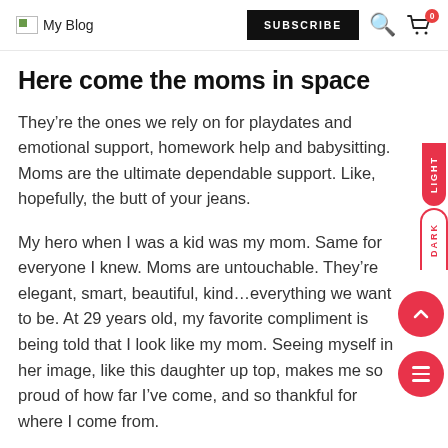My Blog | SUBSCRIBE | Search | Cart 0
Here come the moms in space
They’re the ones we rely on for playdates and emotional support, homework help and babysitting. Moms are the ultimate dependable support. Like, hopefully, the butt of your jeans.
My hero when I was a kid was my mom. Same for everyone I knew. Moms are untouchable. They’re elegant, smart, beautiful, kind…everything we want to be. At 29 years old, my favorite compliment is being told that I look like my mom. Seeing myself in her image, like this daughter up top, makes me so proud of how far I’ve come, and so thankful for where I come from.